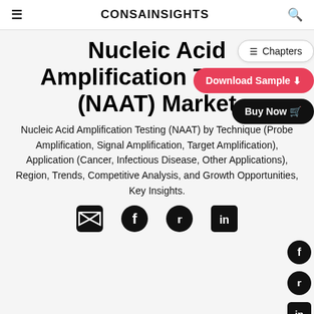CONSAINSIGHTS
Nucleic Acid Amplification Testing (NAAT) Market
Nucleic Acid Amplification Testing (NAAT) by Technique (Probe Amplification, Signal Amplification, Target Amplification), Application (Cancer, Infectious Disease, Other Applications), Region, Trends, Competitive Analysis, and Growth Opportunities, Key Insights.
[Figure (other): Social media share icons: email, facebook, twitter, linkedin]